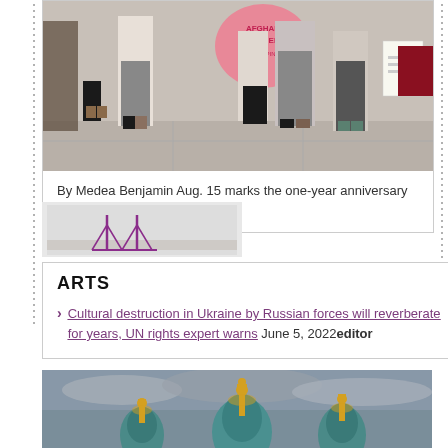[Figure (photo): Protest scene with people standing on sidewalk, one holding a pink heart-shaped sign reading 'Afghan Teachers' and another person holding white papers]
By Medea Benjamin Aug. 15 marks the one-year anniversary of the return to Taliban rule in ...
[Figure (logo): Bridge logo in purple/magenta color on grey background]
ARTS
Cultural destruction in Ukraine by Russian forces will reverberate for years, UN rights expert warns June 5, 2022editor
[Figure (photo): Orthodox church domes with gold ornamentation against a cloudy grey sky]